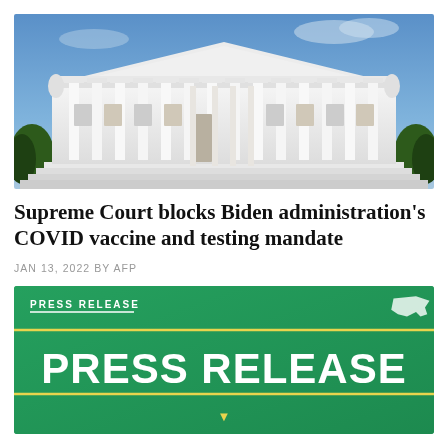[Figure (photo): Photograph of the United States Supreme Court building facade, showing white marble columns under a blue sky]
Supreme Court blocks Biden administration’s COVID vaccine and testing mandate
JAN 13, 2022 BY AFP
[Figure (infographic): Green press release banner graphic with 'PRESS RELEASE' label at top left, a USA map icon at top right, yellow horizontal lines above and below large white bold 'PRESS RELEASE' text in the center]
Time to Abandon this Misguided Political